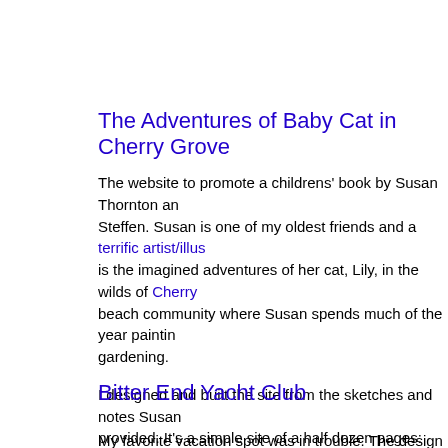The Adventures of Baby Cat in Cherry Grove
The website to promote a childrens' book by Susan Thornton and Steffen. Susan is one of my oldest friends and a terrific artist/illustrator. is the imagined adventures of her cat, Lily, in the wilds of Cherry beach community where Susan spends much of the year painting gardening.
I designed and built the site from the sketches and notes Susan provided. It's a simple site of a half dozen pages: excerpts, original song, author bios, etc. The navigation features cute paw text highlighting. There's a link to the Baby Cat Blog and announcements about the upcoming publication of Baby-Cat 2.
Bitter End Yacht Club
My favorite vacation spot was in trouble. The design firm that wa